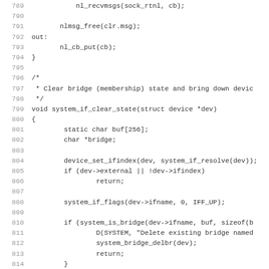[Figure (screenshot): Source code listing showing C code for network device management functions, lines 789-820, including nlmsg_free, nl_cb_put, system_if_clear_state function with bridge and ifindex handling.]